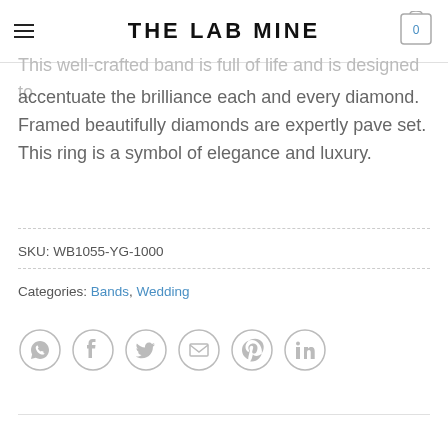THE LAB MINE
This well-crafted band is full of life and is designed to accentuate the brilliance each and every diamond. Framed beautifully diamonds are expertly pave set. This ring is a symbol of elegance and luxury.
SKU: WB1055-YG-1000
Categories: Bands, Wedding
[Figure (infographic): Six social media share icons in circles: WhatsApp, Facebook, Twitter, Email, Pinterest, LinkedIn]